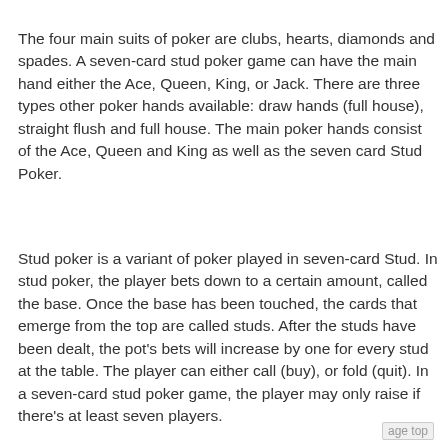The four main suits of poker are clubs, hearts, diamonds and spades. A seven-card stud poker game can have the main hand either the Ace, Queen, King, or Jack. There are three types other poker hands available: draw hands (full house), straight flush and full house. The main poker hands consist of the Ace, Queen and King as well as the seven card Stud Poker.
Stud poker is a variant of poker played in seven-card Stud. In stud poker, the player bets down to a certain amount, called the base. Once the base has been touched, the cards that emerge from the top are called studs. After the studs have been dealt, the pot's bets will increase by one for every stud at the table. The player can either call (buy), or fold (quit). In a seven-card stud poker game, the player may only raise if there's at least seven players.